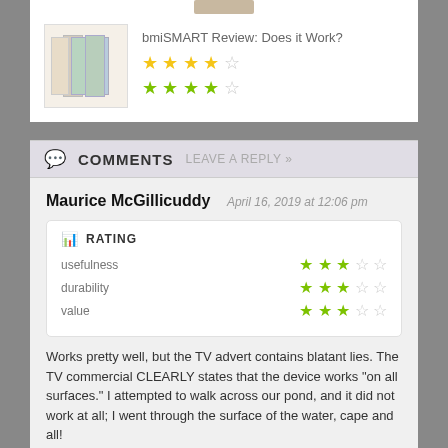[Figure (photo): Partial photo of a person at top of page (cropped)]
[Figure (photo): Product image showing bmiSMART product packages]
bmiSMART Review: Does it Work?
[Figure (other): Star rating row 1: 3.5 out of 5 yellow stars]
[Figure (other): Star rating row 2: 3.5 out of 5 green stars]
COMMENTS    LEAVE A REPLY »
Maurice McGillicuddy   April 16, 2019 at 12:06 pm
RATING
usefulness
[Figure (other): usefulness rating: 2.5 out of 5 green stars]
durability
[Figure (other): durability rating: 2.5 out of 5 green stars]
value
[Figure (other): value rating: 2.5 out of 5 green stars]
Works pretty well, but the TV advert contains blatant lies. The TV commercial CLEARLY states that the device works "on all surfaces." I attempted to walk across our pond, and it did not work at all; I went through the surface of the water, cape and all!